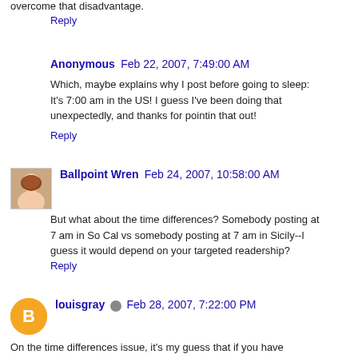overcome that disadvantage.
Reply
Anonymous  Feb 22, 2007, 7:49:00 AM
Which, maybe explains why I post before going to sleep: It's 7:00 am in the US! I guess I've been doing that unexpectedly, and thanks for pointin that out!
Reply
Ballpoint Wren  Feb 24, 2007, 10:58:00 AM
But what about the time differences? Somebody posting at 7 am in So Cal vs somebody posting at 7 am in Sicily--I guess it would depend on your targeted readership?
Reply
louisgray  Feb 28, 2007, 7:22:00 PM
On the time differences issue, it's my guess that if you have